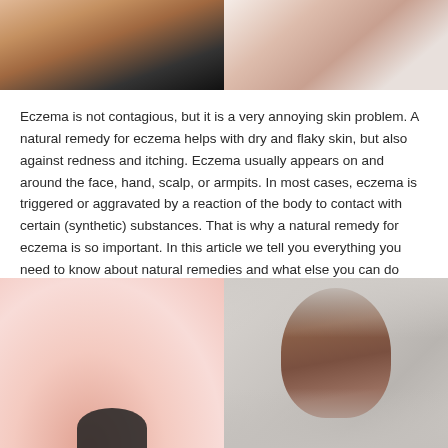[Figure (photo): Two photos side by side: left shows a person applying cream from a dark container to their skin; right shows a person with skin condition on their neck/shoulder area.]
Eczema is not contagious, but it is a very annoying skin problem. A natural remedy for eczema helps with dry and flaky skin, but also against redness and itching. Eczema usually appears on and around the face, hand, scalp, or armpits. In most cases, eczema is triggered or aggravated by a reaction of the body to contact with certain (synthetic) substances. That is why a natural remedy for eczema is so important. In this article we tell you everything you need to know about natural remedies and what else you can do against eczema.
[Figure (photo): Two photos side by side: left shows hands holding a small container against a pink background; right shows the back of a person's head/scalp with brown hair against a light gray background.]